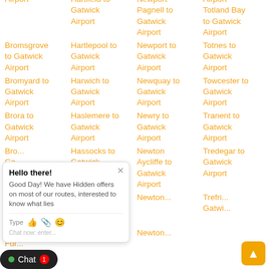Gatwick Airport
Bromsgrove to Gatwick Airport
Bromyard to Gatwick Airport
Brora to Gatwick Airport
Bro... to Gatwick Airport
Bro... to Gatwick Airport
Broughton In Furness to...
Airport Hartfield to Gatwick Airport
Hartlepool to Gatwick Airport
Harwich to Gatwick Airport
Haslemere to Gatwick Airport
Hassocks to Gatwick Airport
Hastings to Gatwick Airport
Airport Newport Pagnell to Gatwick Airport
Newport to Gatwick Airport
Newquay to Gatwick Airport
Newry to Gatwick Airport
Newton Aycliffe to Gatwick Airport
Newton...
Gatwick Airport Totland Bay to Gatwick Airport
Totnes to Gatwick Airport
Towcester to Gatwick Airport
Tranent to Gatwick Airport
Tredegar to Gatwick Airport
Trefiw... to Gatwick Airport